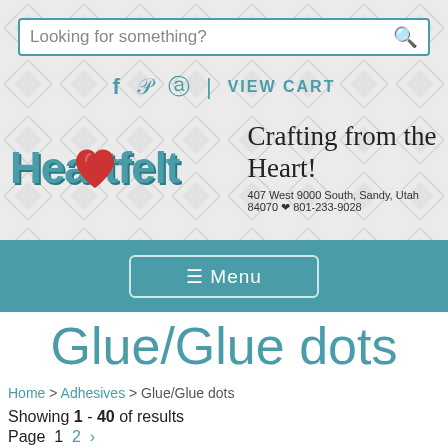[Figure (screenshot): Website header with decorative diamond/arrow pattern background in light grey]
Looking for something?
f  p  ☉  |  VIEW CART
[Figure (logo): Heartfelt Crafting from the Heart logo with teal text and red heart icon, tagline 'Crafting from the Heart!', address '407 West 9000 South, Sandy, Utah 84070', phone '801-233-9028']
☰ Menu
Glue/Glue dots
Home > Adhesives > Glue/Glue dots
Showing 1 - 40 of results
Page  1  2  >